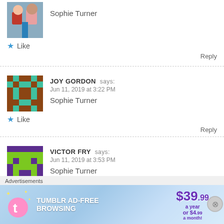Sophie Turner
★ Like
Reply
JOY GORDON says: Jun 11, 2019 at 3:22 PM
Sophie Turner
★ Like
Reply
VICTOR FRY says: Jun 11, 2019 at 3:53 PM
Sophie Turner
Advertisements
[Figure (screenshot): Tumblr ad-free browsing advertisement banner: $39.99 a year or $4.99 a month]